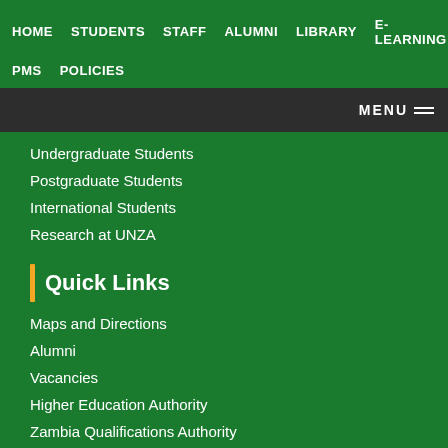HOME  STUDENTS  STAFF  ALUMNI  LIBRARY  E-LEARNING  JO  PMS  POLICIES
Undergraduate Students
Postgraduate Students
International Students
Research at UNZA
Quick Links
Maps and Directions
Alumni
Vacancies
Higher Education Authority
Zambia Qualifications Authority
Loans Board Representative
Site Map
[Figure (other): Social media icons: Facebook (f), LinkedIn (in), YouTube (You)]